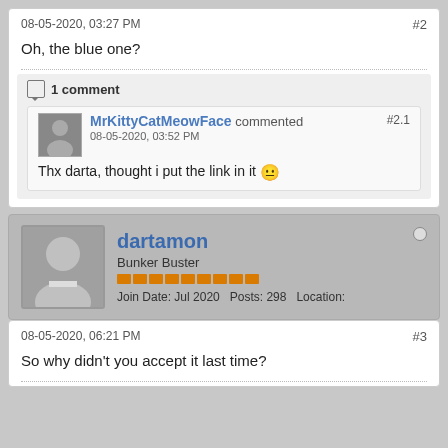08-05-2020, 03:27 PM
#2
Oh, the blue one?
1 comment
MrKittyCatMeowFace commented
08-05-2020, 03:52 PM
#2.1
Thx darta, thought i put the link in it 😐
dartamon
Bunker Buster
Join Date: Jul 2020   Posts: 298   Location:
08-05-2020, 06:21 PM
#3
So why didn't you accept it last time?